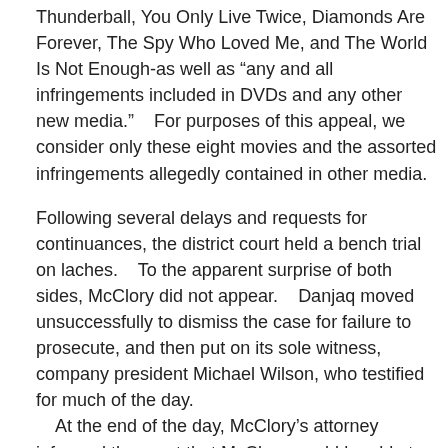Thunderball, You Only Live Twice, Diamonds Are Forever, The Spy Who Loved Me, and The World Is Not Enough-as well as "any and all infringements included in DVDs and any other new media."    For purposes of this appeal, we consider only these eight movies and the assorted infringements allegedly contained in other media.
Following several delays and requests for continuances, the district court held a bench trial on laches.    To the apparent surprise of both sides, McClory did not appear.    Danjaq moved unsuccessfully to dismiss the case for failure to prosecute, and then put on its sole witness, company president Michael Wilson, who testified for much of the day.    At the end of the day, McClory's attorney informed the court that McClory would be able to testify two days later.    The court agreed to the delay, and set a date for a trial on infringement in the event it found no laches.    However, two days later, McClory again failed to appear.    His attorney